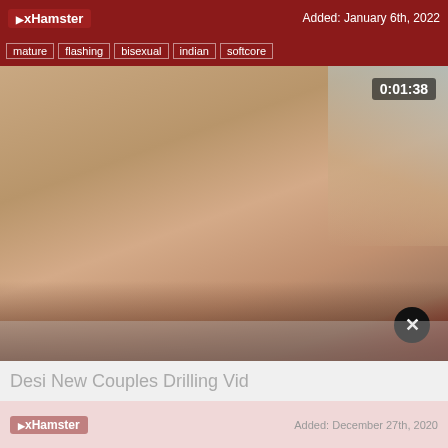xHamster | Added: January 6th, 2022
mature | flashing | bisexual | indian | softcore
[Figure (screenshot): Video thumbnail showing a close-up skin photo with timestamp 0:01:38 in upper right corner]
Desi New Couples Drilling Vid
xHamster | Added: December 27th, 2020